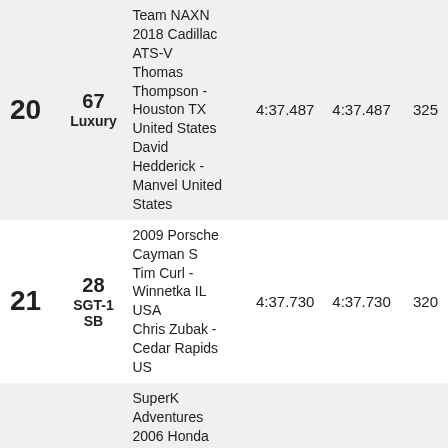| Pos | No / Class | Car / Drivers | Time1 | Time2 | Pts |
| --- | --- | --- | --- | --- | --- |
| 20 | 67
Luxury | Team NAXN
2018 Cadillac ATS-V
Thomas Thompson - Houston TX United States
David Hedderick - Manvel United States | 4:37.487 | 4:37.487 | 325 |
| 21 | 28
SGT-1 SB | 2009 Porsche Cayman S
Tim Curl - Winnetka IL USA
Chris Zubak - Cedar Rapids US | 4:37.730 | 4:37.730 | 320 |
| 22 | 3
SGT-2 SB | SuperK Adventures
2006 Honda S2000
Alexander Moss - Eagle WI USA
Andy Smedegard - Stevens Point | 4:37.837 | 4:37.837 | 315 |